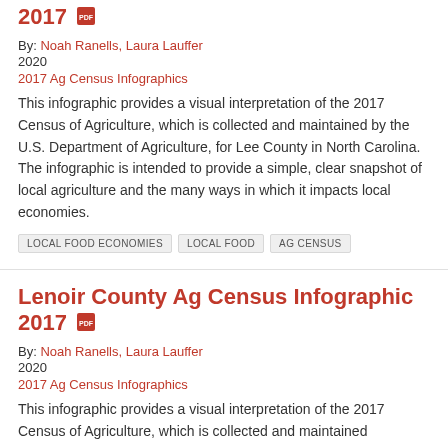2017
By: Noah Ranells, Laura Lauffer
2020
2017 Ag Census Infographics
This infographic provides a visual interpretation of the 2017 Census of Agriculture, which is collected and maintained by the U.S. Department of Agriculture, for Lee County in North Carolina. The infographic is intended to provide a simple, clear snapshot of local agriculture and the many ways in which it impacts local economies.
LOCAL FOOD ECONOMIES
LOCAL FOOD
AG CENSUS
Lenoir County Ag Census Infographic 2017
By: Noah Ranells, Laura Lauffer
2020
2017 Ag Census Infographics
This infographic provides a visual interpretation of the 2017 Census of Agriculture, which is collected and maintained